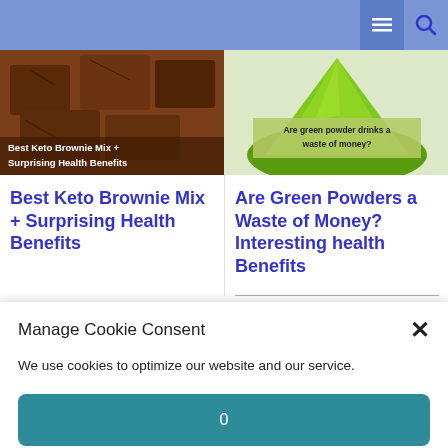Navigation header with menu and search icons
[Figure (photo): Chocolate brownie pieces with text overlay: Best Keto Brownie Mix + Surprising Health Benefits]
Best Keto Brownie Mix + Surprising Health Benefits
[Figure (photo): Green powder heap with text overlay: Are green powder drinks a waste of money?]
Are Green Powders a Waste of Money? Interesting health Benefits
Manage Cookie Consent
We use cookies to optimize our website and our service.
0